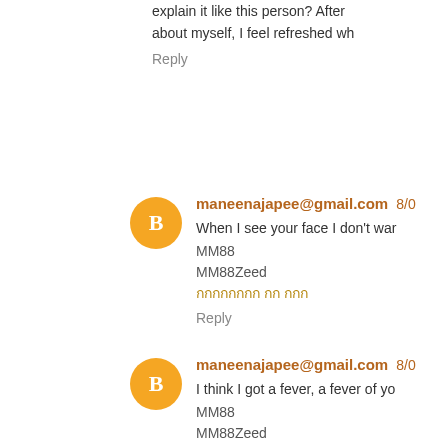explain it like this person? After about myself, I feel refreshed wh
Reply
maneenajapee@gmail.com 8/0
When I see your face I don't war MM88 MM88Zeed กกกกกกกก กก กกก
Reply
maneenajapee@gmail.com 8/0
I think I got a fever, a fever of yo MM88 MM88Zeed กกกกกกกก กก กกก
Reply